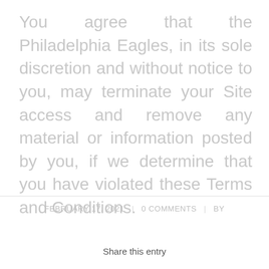You agree that the Philadelphia Eagles, in its sole discretion and without notice to you, may terminate your Site access and remove any material or information posted by you, if we determine that you have violated these Terms and Conditions.
FEBRUARY 17, 2021 | 0 COMMENTS | BY
Share this entry